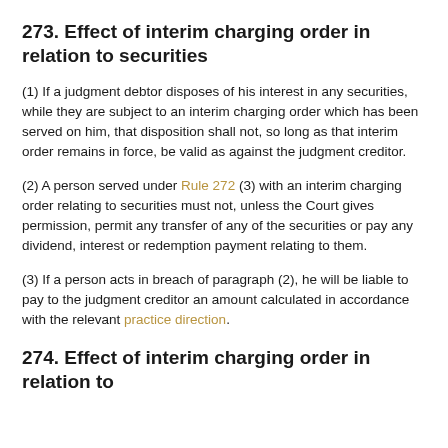273. Effect of interim charging order in relation to securities
(1) If a judgment debtor disposes of his interest in any securities, while they are subject to an interim charging order which has been served on him, that disposition shall not, so long as that interim order remains in force, be valid as against the judgment creditor.
(2) A person served under Rule 272 (3) with an interim charging order relating to securities must not, unless the Court gives permission, permit any transfer of any of the securities or pay any dividend, interest or redemption payment relating to them.
(3) If a person acts in breach of paragraph (2), he will be liable to pay to the judgment creditor an amount calculated in accordance with the relevant practice direction.
274. Effect of interim charging order in relation to